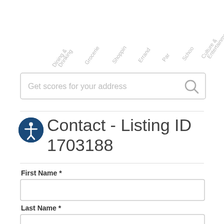[Figure (screenshot): Rotated category axis labels: Dining & Drinking, Groceries, Shopping, Errands, Parks, Schools, Culture & Entertainment]
[Figure (screenshot): Search bar with placeholder text 'Get scores for your address' and a search icon]
Contact - Listing ID 1703188
First Name *
[Figure (screenshot): Empty text input field for First Name]
Last Name *
[Figure (screenshot): Empty text input field for Last Name]